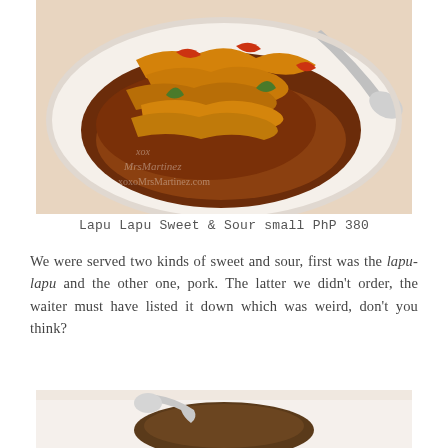[Figure (photo): A plate of Lapu Lapu Sweet and Sour fish topped with sautéed onions, peppers, and sweet and sour sauce, served on a white plate with a spoon. Watermark reads xoxoMrsMartinez.com.]
Lapu Lapu Sweet & Sour small PhP 380
We were served two kinds of sweet and sour, first was the lapu-lapu and the other one, pork. The latter we didn't order, the waiter must have listed it down which was weird, don't you think?
[Figure (photo): A partially visible plate of food at the bottom of the page, showing what appears to be another dish served on a white plate.]